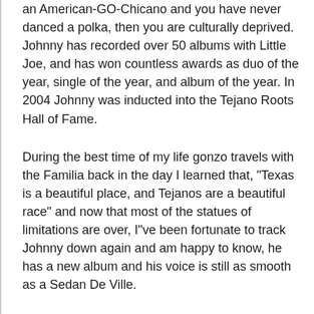an American-GO-Chicano and you have never danced a polka, then you are culturally deprived. Johnny has recorded over 50 albums with Little Joe, and has won countless awards as duo of the year, single of the year, and album of the year. In 2004 Johnny was inducted into the Tejano Roots Hall of Fame.
During the best time of my life gonzo travels with the Familia back in the day I learned that, "Texas is a beautiful place, and Tejanos are a beautiful race" and now that most of the statues of limitations are over, I"ve been fortunate to track Johnny down again and am happy to know, he has a new album and his voice is still as smooth as a Sedan De Ville.
Johnny said recently, "I went solo in 1985 and have continued to record 8 Tejano albums and have toured with my own band. I"ve decided on this my 8th solo, just to record an album in English...